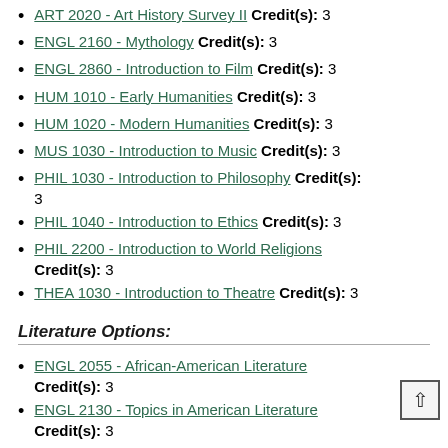ART 2020 - Art History Survey II Credit(s): 3
ENGL 2160 - Mythology Credit(s): 3
ENGL 2860 - Introduction to Film Credit(s): 3
HUM 1010 - Early Humanities Credit(s): 3
HUM 1020 - Modern Humanities Credit(s): 3
MUS 1030 - Introduction to Music Credit(s): 3
PHIL 1030 - Introduction to Philosophy Credit(s): 3
PHIL 1040 - Introduction to Ethics Credit(s): 3
PHIL 2200 - Introduction to World Religions Credit(s): 3
THEA 1030 - Introduction to Theatre Credit(s): 3
Literature Options:
ENGL 2055 - African-American Literature Credit(s): 3
ENGL 2130 - Topics in American Literature Credit(s): 3